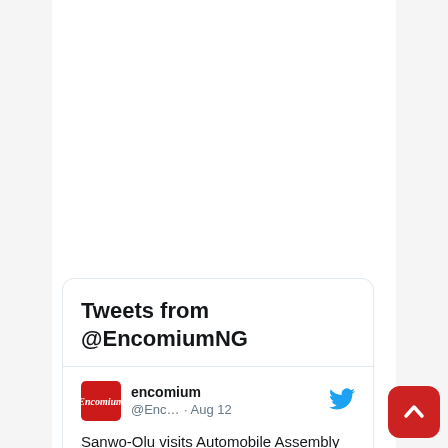[Figure (screenshot): Twitter/X embedded timeline widget showing tweets from @EncomiumNG. Contains the header 'Tweets from @EncomiumNG', followed by a tweet from @encomium account with avatar showing Encomium logo, handle @Enc... and date Aug 12, with tweet text beginning 'Sanwo-Olu visits Automobile Assembly Plant jointly set up with'. A red back-to-top button appears at bottom right.]